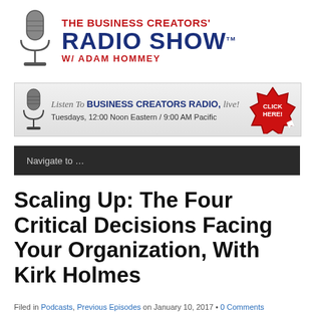[Figure (logo): The Business Creators' Radio Show w/ Adam Hommey logo with microphone icon]
[Figure (illustration): Banner ad: Listen To BUSINESS CREATORS RADIO, Live! Tuesdays, 12:00 Noon Eastern / 9:00 AM Pacific – CLICK HERE button]
Navigate to …
Scaling Up: The Four Critical Decisions Facing Your Organization, With Kirk Holmes
Filed in Podcasts, Previous Episodes on January 10, 2017 • 0 Comments